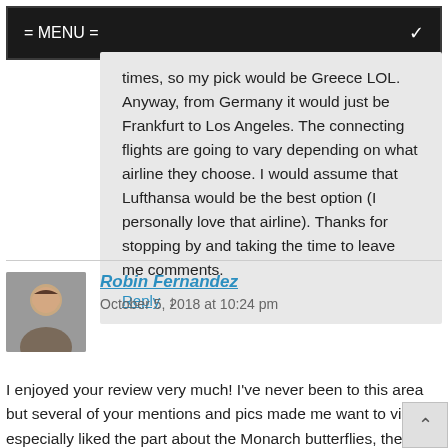= MENU =
times, so my pick would be Greece LOL. Anyway, from Germany it would just be Frankfurt to Los Angeles. The connecting flights are going to vary depending on what airline they choose. I would assume that Lufthansa would be the best option (I personally love that airline). Thanks for stopping by and taking the time to leave me comments.
Reply ↓
Robin Fernandez    October 5, 2018 at 10:24 pm
I enjoyed your review very much! I've never been to this area but several of your mentions and pics made me want to visit! I especially liked the part about the Monarch butterflies, the Point Pinos Lighthouse and that beautiful Victorian Inn!